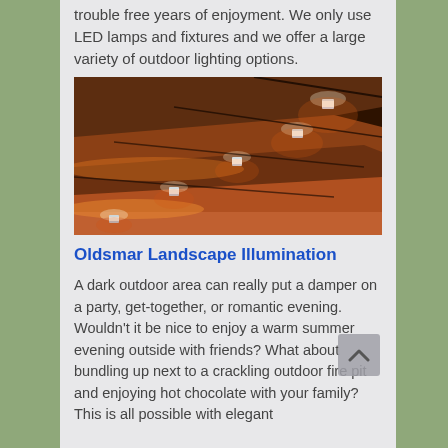trouble free years of enjoyment. We only use LED lamps and fixtures and we offer a large variety of outdoor lighting options.
[Figure (photo): Outdoor stairway steps illuminated by warm amber LED step lights mounted on the risers, with dramatic side lighting casting warm glow on concrete/stone surfaces in a dark environment.]
Oldsmar Landscape Illumination
A dark outdoor area can really put a damper on a party, get-together, or romantic evening. Wouldn't it be nice to enjoy a warm summer evening outside with friends? What about bundling up next to a crackling outdoor fire pit and enjoying hot chocolate with your family? This is all possible with elegant